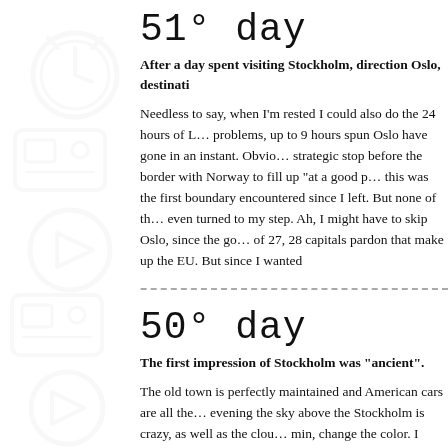51° day
After a day spent visiting Stockholm, direction Oslo, destinati…
Needless to say, when I'm rested I could also do the 24 hours of L… problems, up to 9 hours spun Oslo have gone in an instant. Obvio… strategic stop before the border with Norway to fill up "at a good p… this was the first boundary encountered since I left. But none of th… even turned to my step. Ah, I might have to skip Oslo, since the go… of 27, 28 capitals pardon that make up the EU. But since I wanted…
50° day
The first impression of Stockholm was "ancient".
The old town is perfectly maintained and American cars are all the… evening the sky above the Stockholm is crazy, as well as the clou… min, change the color. I believe that during an evening, the same l… photographed several times, and each time it seems another plac…